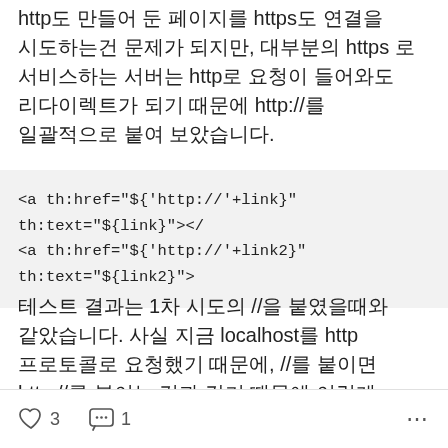http도 만들어 둔 페이지를 https도 연결을 시도하는건 문제가 되지만, 대부분의 https 로 서비스하는 서버는 http로 요청이 들어와도 리다이렉트가 되기 때문에 http://를 일괄적으로 붙여 보았습니다.
<a th:href="${'http://'+link}" th:text="${link}"></
<a th:href="${'http://'+link2}" th:text="${link2}">
테스트 결과는 1차 시도의 //을 붙였을때와 같았습니다. 사실 지금 localhost를 http 프로토콜로 요청했기 때문에, //를 붙이면 http://를 붙이는 것과 같기 때문에 이렇게 되는게 맞습니다..
♡ 3  💬 1  ⋯